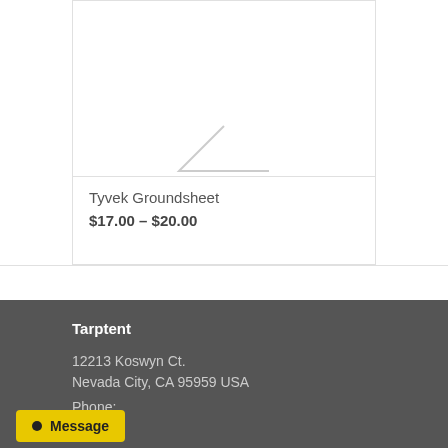Tyvek Groundsheet
$17.00 – $20.00
Select options
Tarptent
12213 Koswyn Ct.
Nevada City, CA 95959 USA
Phone:
Message